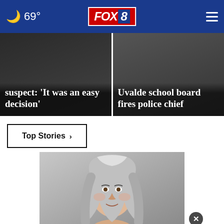FOX 8 — 69°
suspect: 'It was an easy decision'
Uvalde school board fires police chief
Top Stories >
[Figure (photo): Portrait of a woman with long gray hair smiling]
[Figure (other): Advertisement banner: Get SAVEDBYTHESCAN.ORG — Ad Council — American Lung Association]